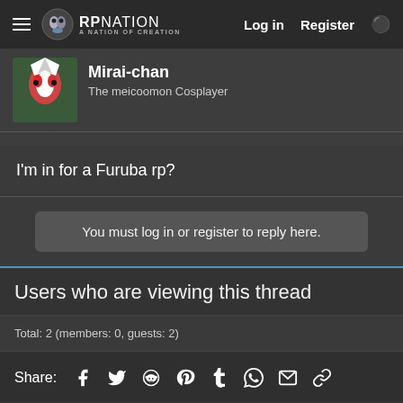RPNation — Log in  Register
Mirai-chan
The meicoomon Cosplayer
I'm in for a Furuba rp?
You must log in or register to reply here.
Users who are viewing this thread
Total: 2 (members: 0, guests: 2)
Share: